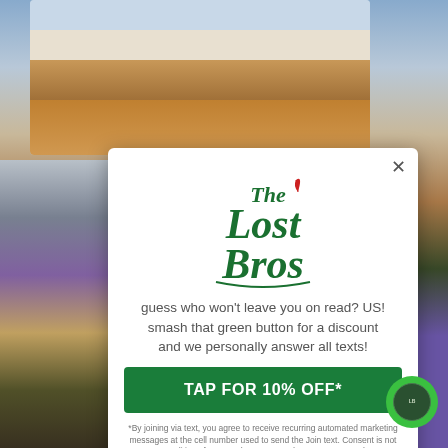[Figure (photo): Background image showing a restaurant interior with a Goofy cowboy mascot character and checkered floor.]
[Figure (logo): The Lost Bros logo in green script lettering with a red feather/quill accent.]
guess who won't leave you on read? US! smash that green button for a discount and we personally answer all texts!
TAP FOR 10% OFF*
*By joining via text, you agree to receive recurring automated marketing messages at the cell number used to send the Join text. Consent is not a condition of any purchase. Msg & data rates may apply.